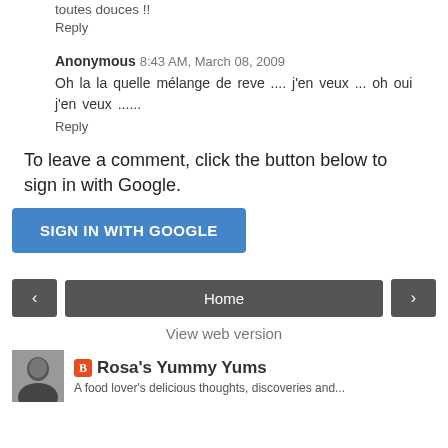toutes douces !!
Reply
Anonymous 8:43 AM, March 08, 2009
Oh la la quelle mélange de reve .... j'en veux ... oh oui j'en veux ......
Reply
To leave a comment, click the button below to sign in with Google.
[Figure (other): SIGN IN WITH GOOGLE button (blue rounded rectangle)]
[Figure (other): Navigation bar with left arrow, Home, and right arrow buttons]
View web version
[Figure (other): Profile avatar photo (black and white portrait)]
Rosa's Yummy Yums
A food lover's delicious thoughts, discoveries and...